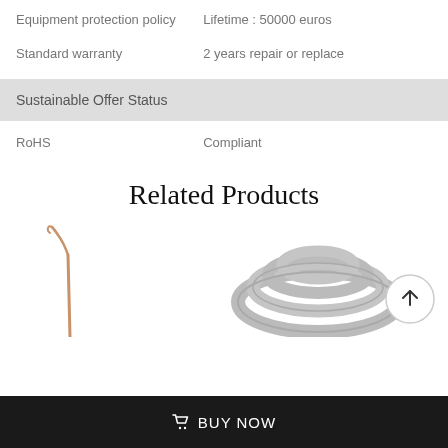| Equipment protection policy | Lifetime : 50000 euros |
| Standard warranty | 2 years repair or replace |
Sustainable Offer Status
| RoHS | Compliant |
Related Products
[Figure (photo): Two related product images: a thin curved medical/dental tool on the left, and a coiled cable/hose on the right. A scroll-to-top circular button overlays the right side.]
BUY NOW